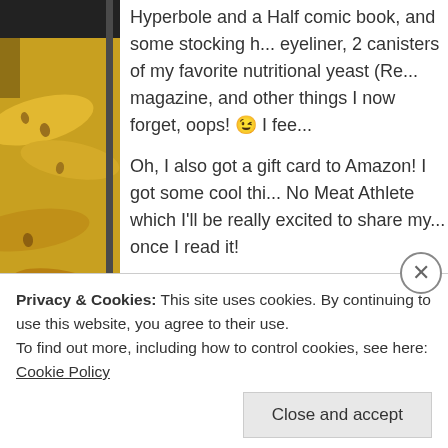[Figure (photo): Close-up photo of yellow bananas with dark spots forming a vertical sidebar on the left side of the page]
Hyperbole and a Half comic book, and some stocking h... eyeliner, 2 canisters of my favorite nutritional yeast (Re... magazine, and other things I now forget, oops! 😉 I fee...
Oh, I also got a gift card to Amazon! I got some cool thi... No Meat Athlete which I'll be really excited to share my... once I read it!
Okay, I'll be writing a bit more next week! Enjoy!
Leave a comment
Privacy & Cookies: This site uses cookies. By continuing to use this website, you agree to their use.
To find out more, including how to control cookies, see here: Cookie Policy
Close and accept